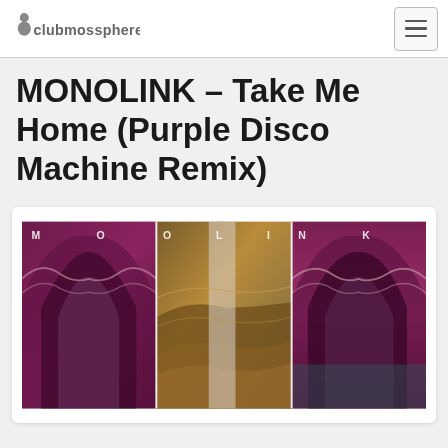clubmossphere
MONOLINK – Take Me Home (Purple Disco Machine Remix)
[Figure (photo): Album artwork for MONOLINK Take Me Home (Purple Disco Machine Remix) — a triptych of three panels showing ornate purple/magenta gothic arches, with a golden sandy landscape in the middle panel. Letters spelling M-O-N-O-L-I-N-K appear across the top of the three panels.]